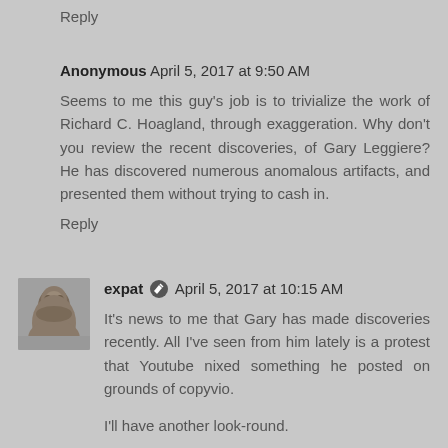Reply
Anonymous April 5, 2017 at 9:50 AM
Seems to me this guy's job is to trivialize the work of Richard C. Hoagland, through exaggeration. Why don't you review the recent discoveries, of Gary Leggiere? He has discovered numerous anomalous artifacts, and presented them without trying to cash in.
Reply
[Figure (photo): Avatar photo of user expat, a middle-aged man]
expat April 5, 2017 at 10:15 AM
It's news to me that Gary has made discoveries recently. All I've seen from him lately is a protest that Youtube nixed something he posted on grounds of copyvio.
I'll have another look-round.
Reply